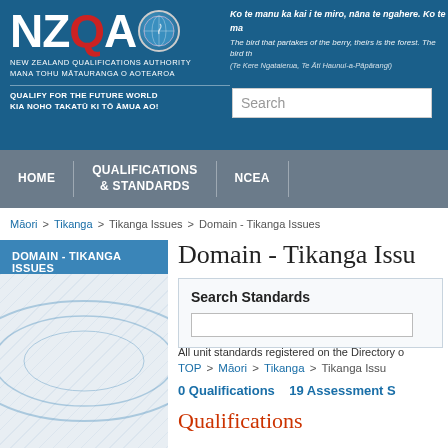[Figure (screenshot): NZQA website header with logo, Māori proverb, search box]
Ko te manu ka kai i te miro, nāna te ngahere. Ko te manu ka kai i te mātauranga, nāna te ao. The bird that partakes of the berry, theirs is the forest. The bird that partakes of knowledge, theirs is the world. (Te Kere Ngataierua, Te Āti Haunui-a-Pāpārangi)
HOME | QUALIFICATIONS & STANDARDS | NCEA
Māori > Tikanga > Tikanga Issues > Domain - Tikanga Issues
DOMAIN - TIKANGA ISSUES
Domain - Tikanga Issues
Search Standards
All unit standards registered on the Directory of Assessment Standards (DAS) can be found here.
TOP > Māori > Tikanga > Tikanga Issues
0 Qualifications   19 Assessment Standards
Qualifications